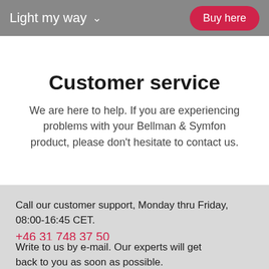Light my way  ∨    Buy here
Customer service
We are here to help. If you are experiencing problems with your Bellman & Symfon product, please don't hesitate to contact us.
Call our customer support, Monday thru Friday, 08:00-16:45 CET.
+46 31 748 37 50
Write to us by e-mail. Our experts will get back to you as soon as possible.